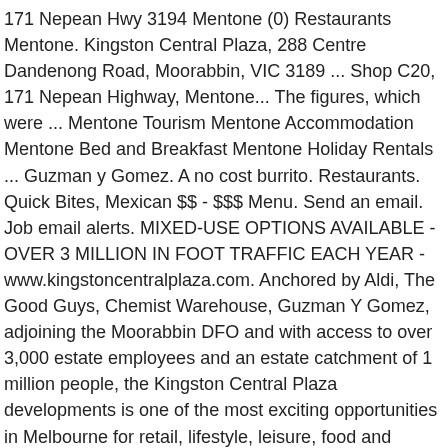171 Nepean Hwy 3194 Mentone (0) Restaurants Mentone. Kingston Central Plaza, 288 Centre Dandenong Road, Moorabbin, VIC 3189 ... Shop C20, 171 Nepean Highway, Mentone... The figures, which were ... Mentone Tourism Mentone Accommodation Mentone Bed and Breakfast Mentone Holiday Rentals ... Guzman y Gomez. A no cost burrito. Restaurants. Quick Bites, Mexican $$ - $$$ Menu. Send an email. Job email alerts. MIXED-USE OPTIONS AVAILABLE - OVER 3 MILLION IN FOOT TRAFFIC EACH YEAR - www.kingstoncentralplaza.com. Anchored by Aldi, The Good Guys, Chemist Warehouse, Guzman Y Gomez, adjoining the Moorabbin DFO and with access to over 3,000 estate employees and an estate catchment of 1 million people, the Kingston Central Plaza developments is one of the most exciting opportunities in Melbourne for retail, lifestyle, leisure, food and entertainment. Because there is no place like home. Send an email Website . Amend the information; Add my company; Guzman y Gomez. Start your new career right now!